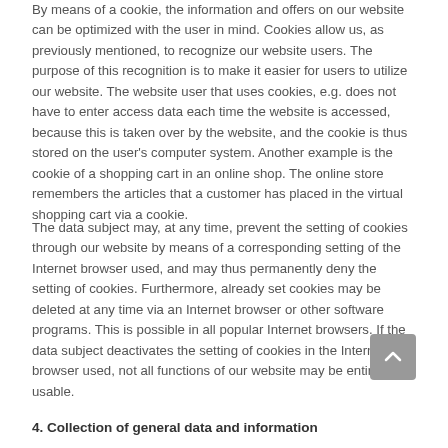By means of a cookie, the information and offers on our website can be optimized with the user in mind. Cookies allow us, as previously mentioned, to recognize our website users. The purpose of this recognition is to make it easier for users to utilize our website. The website user that uses cookies, e.g. does not have to enter access data each time the website is accessed, because this is taken over by the website, and the cookie is thus stored on the user's computer system. Another example is the cookie of a shopping cart in an online shop. The online store remembers the articles that a customer has placed in the virtual shopping cart via a cookie.
The data subject may, at any time, prevent the setting of cookies through our website by means of a corresponding setting of the Internet browser used, and may thus permanently deny the setting of cookies. Furthermore, already set cookies may be deleted at any time via an Internet browser or other software programs. This is possible in all popular Internet browsers. If the data subject deactivates the setting of cookies in the Internet browser used, not all functions of our website may be entirely usable.
4. Collection of general data and information